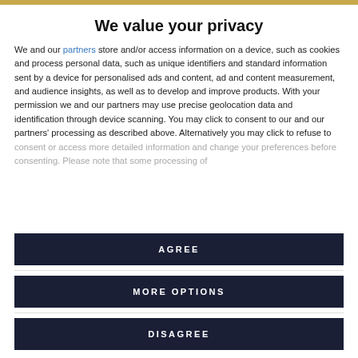We value your privacy
We and our partners store and/or access information on a device, such as cookies and process personal data, such as unique identifiers and standard information sent by a device for personalised ads and content, ad and content measurement, and audience insights, as well as to develop and improve products. With your permission we and our partners may use precise geolocation data and identification through device scanning. You may click to consent to our and our partners' processing as described above. Alternatively you may click to refuse to consent or access more detailed information and change your preferences before consenting. Please note that some processing of
AGREE
MORE OPTIONS
DISAGREE